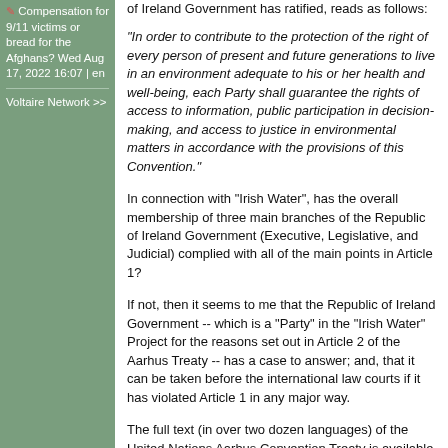Compensation for 9/11 victims or bread for the Afghans? Wed Aug 17, 2022 16:07 | en
Voltaire Network >>
of Ireland Government has ratified, reads as follows:
"In order to contribute to the protection of the right of every person of present and future generations to live in an environment adequate to his or her health and well-being, each Party shall guarantee the rights of access to information, public participation in decision-making, and access to justice in environmental matters in accordance with the provisions of this Convention."
In connection with "Irish Water", has the overall membership of three main branches of the Republic of Ireland Government (Executive, Legislative, and Judicial) complied with all of the main points in Article 1?
If not, then it seems to me that the Republic of Ireland Government -- which is a "Party" in the "Irish Water" Project for the reasons set out in Article 2 of the Aarhus Treaty -- has a case to answer; and, that it can be taken before the international law courts if it has violated Article 1 in any major way.
The full text (in over two dozen languages) of the United Nations Aarhus Convention Treaty is available via the following UN web page: